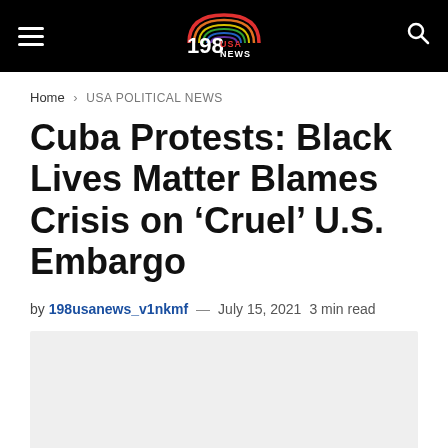198 USA NEWS — navigation bar with hamburger menu, logo, and search icon
Home › USA POLITICAL NEWS
Cuba Protests: Black Lives Matter Blames Crisis on 'Cruel' U.S. Embargo
by 198usanews_v1nkmf — July 15, 2021  3 min read
[Figure (photo): Light gray placeholder image area below the article byline]